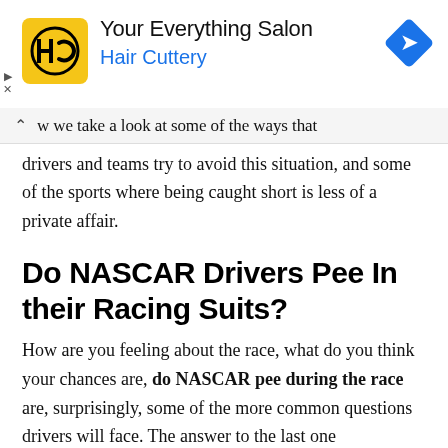[Figure (advertisement): Hair Cuttery ad banner with yellow logo showing HC initials, title 'Your Everything Salon', subtitle 'Hair Cuttery' in blue, and a blue diamond navigation arrow icon on the right]
w we take a look at some of the ways that drivers and teams try to avoid this situation, and some of the sports where being caught short is less of a private affair.
Do NASCAR Drivers Pee In their Racing Suits?
How are you feeling about the race, what do you think your chances are, do NASCAR pee during the race are, surprisingly, some of the more common questions drivers will face. The answer to the last one